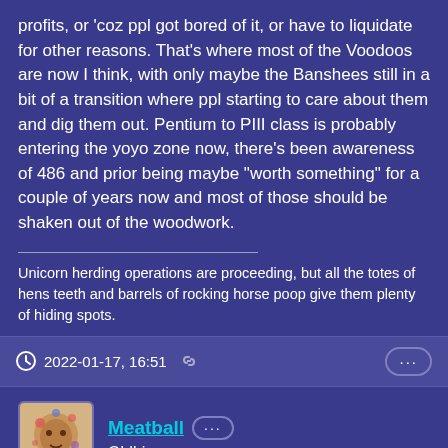profits, or 'coz ppl got bored of it, or have to liquidate for other reasons. That's where most of the Voodoos are now I think, with only maybe the Banshees still in a bit of a transition where ppl starting to care about them and dig them out. Pentium to PIII class is probably entering the yoyo zone now, there's been awareness of 486 and prior being maybe "worth something" for a couple of years now and most of those should be shaken out of the woodwork.
Unicorn herding operations are proceeding, but all the totes of hens teeth and barrels of rocking horse poop give them plenty of hiding spots.
2022-01-17, 16:51
Meatball Oldbie
I gave up on this NEC SCSI drive. I tried 3 different HBAs (one